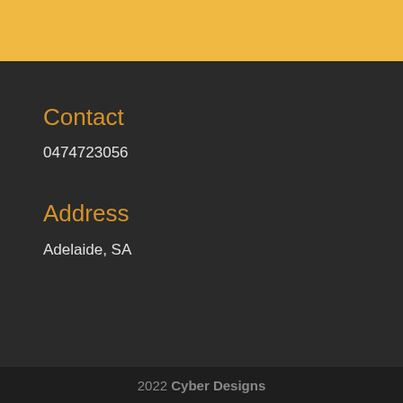Contact
0474723056
Address
Adelaide, SA
2022 Cyber Designs